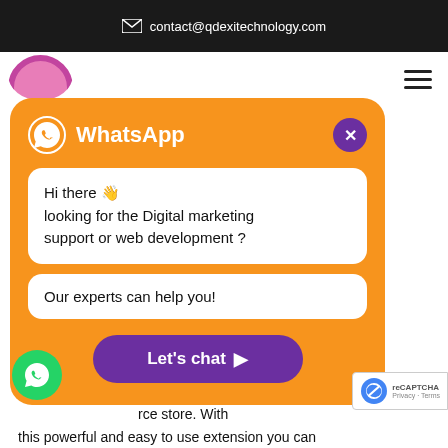contact@qdexitechnology.com
[Figure (screenshot): WhatsApp chat popup widget on a website. The popup has an orange background with WhatsApp logo and title, a message bubble saying 'Hi there 👋 looking for the Digital marketing support or web development ?', a reply bubble saying 'Our experts can help you!', and a purple 'Let's chat ▶' button. Behind the popup, partially visible website text in orange reads 'ment is the ...sses' and in dark 'ions for'. Body text visible at bottom about extension features.]
this powerful and easy to use extension you can implify some ordinary tasks. It allows to import well as export all the important categories and su
[Figure (logo): Green circular WhatsApp FAB button at bottom left]